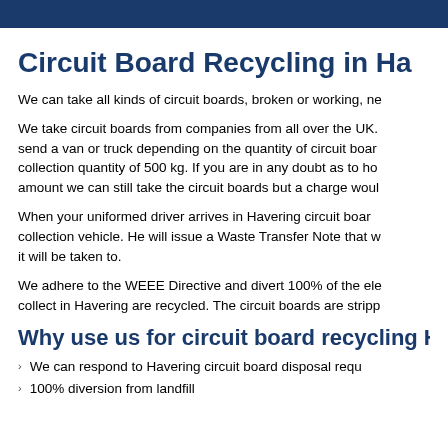Circuit Board Recycling in Ha
We can take all kinds of circuit boards, broken or working, ne
We take circuit boards from companies from all over the UK. send a van or truck depending on the quantity of circuit boar collection quantity of 500 kg. If you are in any doubt as to ho amount we can still take the circuit boards but a charge woul
When your uniformed driver arrives in Havering circuit boar collection vehicle. He will issue a Waste Transfer Note that w it will be taken to.
We adhere to the WEEE Directive and divert 100% of the ele collect in Havering are recycled. The circuit boards are stripp
Why use us for circuit board recycling Ha
We can respond to Havering circuit board disposal requ
100% diversion from landfill